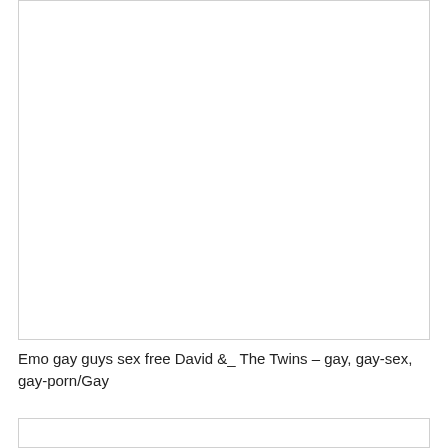[Figure (screenshot): Video thumbnail placeholder — white rectangle with border, top card]
Emo gay guys sex free David &_ The Twins – gay, gay-sex, gay-porn/Gay
[Figure (screenshot): Video thumbnail placeholder — white rectangle with border, bottom card, timestamp 02:54 shown in purple badge]